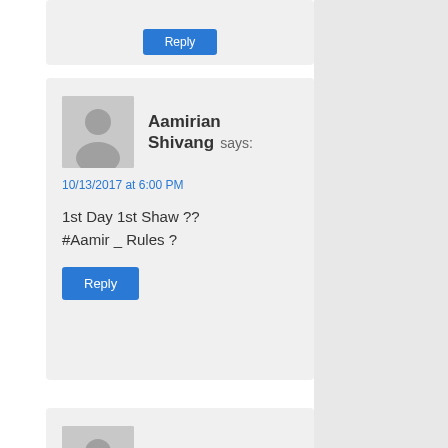[Figure (illustration): Partial comment card at top with a blue Reply button visible at the bottom edge]
Aamirian Shivang says:
10/13/2017 at 6:00 PM
1st Day 1st Shaw ?? #Aamir _ Rules ?
Reply
jeet says: